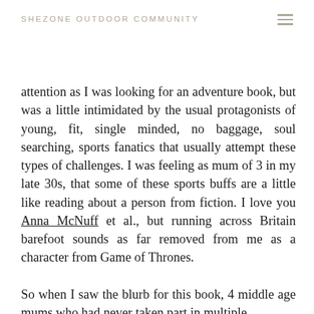SHEZONE OUTDOOR COMMUNITY
attention as I was looking for an adventure book, but was a little intimidated by the usual protagonists of young, fit, single minded, no baggage, soul searching, sports fanatics that usually attempt these types of challenges. I was feeling as mum of 3 in my late 30s, that some of these sports buffs are a little like reading about a person from fiction. I love you Anna McNuff et al., but running across Britain barefoot sounds as far removed from me as a character from Game of Thrones.

So when I saw the blurb for this book, 4 middle age mums who had never taken part in multiple